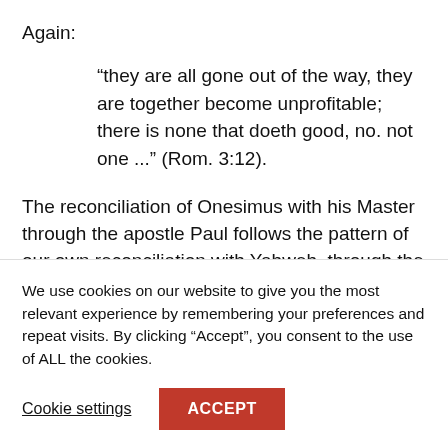Again:
“they are all gone out of the way, they are together become unprofitable; there is none that doeth good, no. not one ...” (Rom. 3:12).
The reconciliation of Onesimus with his Master through the apostle Paul follows the pattern of our own reconciliation with Yahweh, through the operation of His Son:
“God was in Christ reconciling the world to himself…
We use cookies on our website to give you the most relevant experience by remembering your preferences and repeat visits. By clicking “Accept”, you consent to the use of ALL the cookies.
Cookie settings
ACCEPT